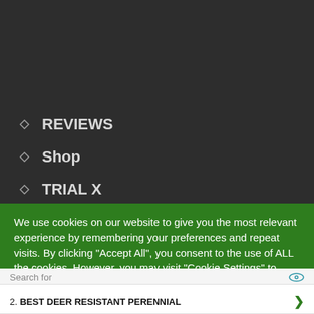REVIEWS
Shop
TRIAL X
We use cookies on our website to give you the most relevant experience by remembering your preferences and repeat visits. By clicking "Accept All", you consent to the use of ALL the cookies. However, you may visit "Cookie Settings" to
Search for
1.  BEST PLANTS TO REPEL DEER
2.  BEST DEER RESISTANT PERENNIAL
Ad | Business Focus